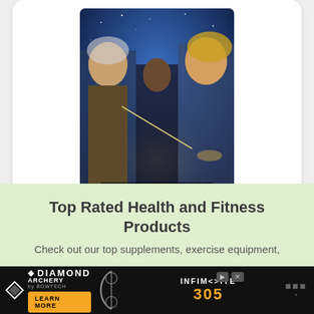[Figure (photo): Movie poster for Stardust showing three characters against a blue fantasy sky background with Italian text at the bottom reading 'Una straordinaria cavalcata sulle ali dell'immaginazione']
STARDUST
GET IT HERE →
Top Rated Health and Fitness Products
Check out our top supplements, exercise equipment,
[Figure (advertisement): Diamond Archery advertisement banner showing 'DIAMOND ARCHERY by SurTech LEARN MORE' on the left, an archery bow in the center-left, 'INFINITE 305' logo in orange in the center, and some icons on the right against a black background]